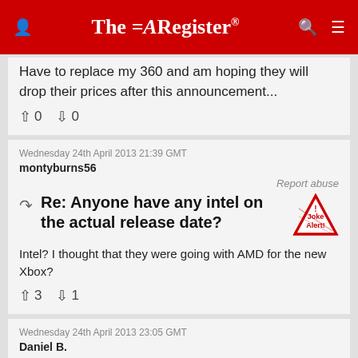The Register
Have to replace my 360 and am hoping they will drop their prices after this announcement...
↑0  ↓0
Wednesday 24th April 2013 21:39 GMT
montyburns56
Report abuse
Re: Anyone have any intel on the actual release date?
Intel? I thought that they were going with AMD for the new Xbox?
↑3  ↓1
Wednesday 24th April 2013 23:05 GMT
Daniel B.
Report abuse